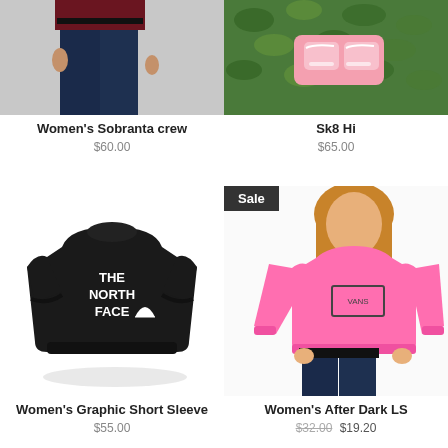[Figure (photo): Woman wearing dark jeans and maroon top, cropped at waist]
Women's Sobranta crew
$60.00
[Figure (photo): Pink shoes/accessories laid flat on green ivy background]
Sk8 Hi
$65.00
[Figure (photo): Black The North Face graphic short sleeve crop sweatshirt on white background]
Women's Graphic Short Sleeve
$55.00
[Figure (photo): Woman wearing pink crop long sleeve sweatshirt with jeans, Sale badge overlay]
Women's After Dark LS
$32.00  $19.20